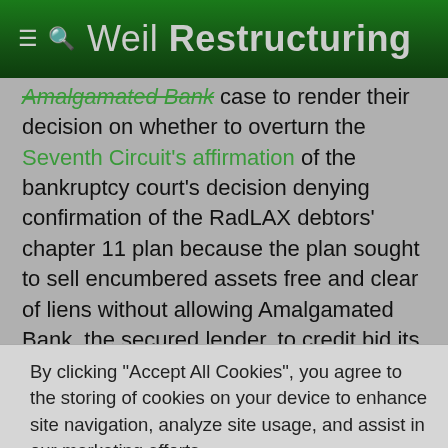≡ 🔍 Weil Restructuring
Amalgamated Bank case to render their decision on whether to overturn the Seventh Circuit's affirmation of the bankruptcy court's decision denying confirmation of the RadLAX debtors' chapter 11 plan because the plan sought to sell encumbered assets free and clear of liens without allowing Amalgamated Bank, the secured lender, to credit bid its debt in the sale. In an 8-0 decision, the Supreme Court affirmed the Seventh Circuit's decision. In holding that the debtors may not obtain confirmation
By clicking "Accept All Cookies", you agree to the storing of cookies on your device to enhance site navigation, analyze site usage, and assist in our marketing efforts.